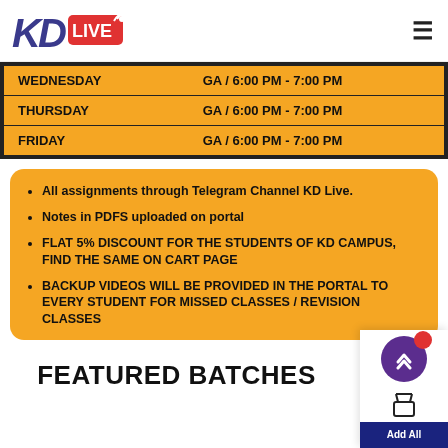KD LIVE
| WEDNESDAY | GA / 6:00 PM - 7:00 PM |
| THURSDAY | GA / 6:00 PM - 7:00 PM |
| FRIDAY | GA / 6:00 PM - 7:00 PM |
All assignments through Telegram Channel KD Live.
Notes in PDFS uploaded on portal
FLAT 5% DISCOUNT FOR THE STUDENTS OF KD CAMPUS, FIND THE SAME ON CART PAGE
BACKUP VIDEOS WILL BE PROVIDED IN THE PORTAL TO EVERY STUDENT FOR MISSED CLASSES / REVISION CLASSES
FEATURED BATCHES